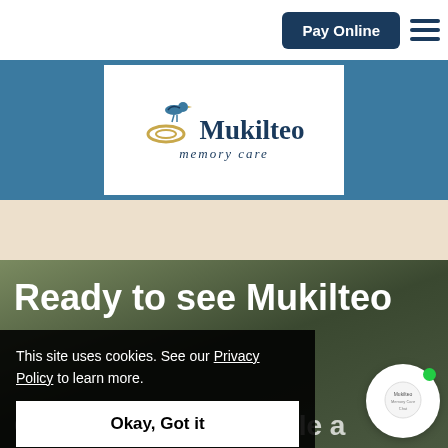Pay Online
[Figure (logo): Mukilteo Memory Care logo with seagull bird illustration and decorative swirl, text reads 'Mukilteo memory care']
Ready to see Mukilteo
This site uses cookies. See our Privacy Policy to learn more.
Okay, Got it
Contact us to schedule a